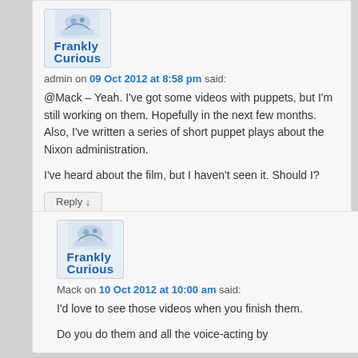[Figure (logo): Frankly Curious logo with blue illustrated image and bold blue text]
admin on 09 Oct 2012 at 8:58 pm said:
@Mack – Yeah. I've got some videos with puppets, but I'm still working on them. Hopefully in the next few months. Also, I've written a series of short puppet plays about the Nixon administration.

I've heard about the film, but I haven't seen it. Should I?
Reply ↓
[Figure (logo): Frankly Curious logo with blue illustrated image and bold blue text]
Mack on 10 Oct 2012 at 10:00 am said:
I'd love to see those videos when you finish them. Do you do them and all the voice-acting by